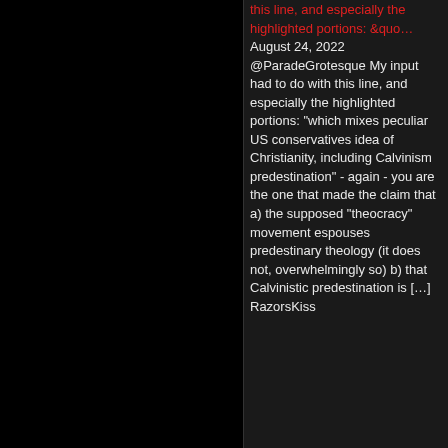this line, and especially the highlighted portions: &quo... August 24, 2022 @ParadeGrotesque My input had to do with this line, and especially the highlighted portions: "which mixes peculiar US conservatives idea of Christianity, including Calvinism predestination" - again - you are the one that made the claim that a) the supposed "theocracy" movement espouses predestinary theology (it does not, overwhelmingly so) b) that Calvinistic predestination is […] RazorsKiss